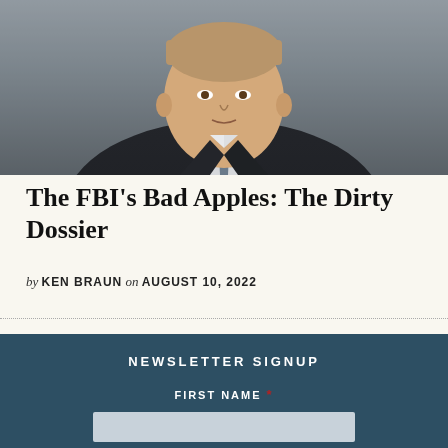[Figure (photo): A man in a dark suit and patterned tie, photographed from chest up, blurred background.]
The FBI's Bad Apples: The Dirty Dossier
by KEN BRAUN on AUGUST 10, 2022
NEWSLETTER SIGNUP
FIRST NAME *